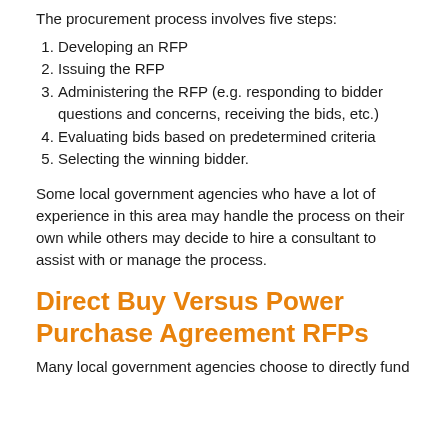The procurement process involves five steps:
Developing an RFP
Issuing the RFP
Administering the RFP (e.g. responding to bidder questions and concerns, receiving the bids, etc.)
Evaluating bids based on predetermined criteria
Selecting the winning bidder.
Some local government agencies who have a lot of experience in this area may handle the process on their own while others may decide to hire a consultant to assist with or manage the process.
Direct Buy Versus Power Purchase Agreement RFPs
Many local government agencies choose to directly fund